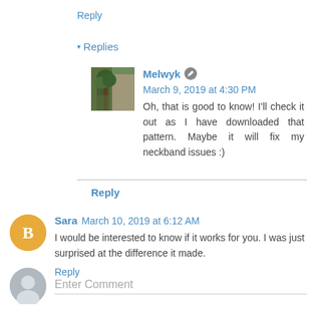Reply
▾ Replies
Melwyk  March 9, 2019 at 4:30 PM
Oh, that is good to know! I'll check it out as I have downloaded that pattern. Maybe it will fix my neckband issues :)
Reply
Sara  March 10, 2019 at 6:12 AM
I would be interested to know if it works for you. I was just surprised at the difference it made.
Reply
Enter Comment